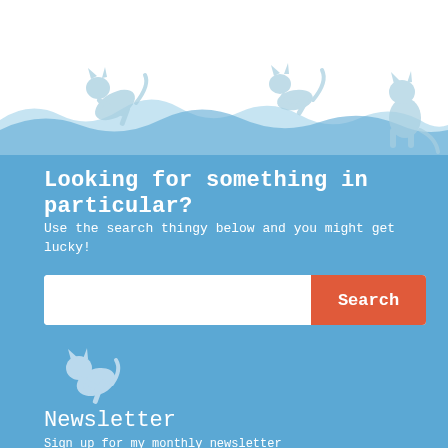[Figure (illustration): Three playful cats silhouettes on a grassy landscape, light blue watercolor style on white background]
Looking for something in particular?
Use the search thingy below and you might get lucky!
[Figure (illustration): Small jumping cat silhouette icon in light blue/white on blue background]
Newsletter
Sign up for my monthly newsletter